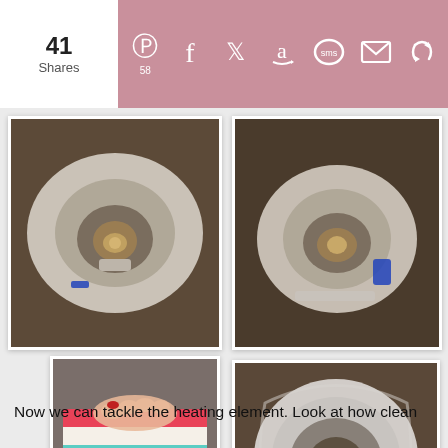41 Shares | Social sharing bar with Pinterest (58), Facebook, Twitter, Amazon, SMS, Email, More icons
[Figure (photo): Top-left photo: close-up overhead view of a white appliance heating element base with brownish water/residue inside, blue clip visible, on dark wood surface]
[Figure (photo): Top-right photo: angled view of the same white appliance heating element base with water inside, blue clip visible, on dark wood surface]
[Figure (photo): Bottom-left photo: hand holding a colorful striped cloth (pink, teal, yellow, white) over a white appliance base]
[Figure (photo): Bottom-right photo: top-down view inside the white appliance base with lid open, showing heating element coil at the bottom, blue clip visible]
Now we can tackle the heating element.  Look at how clean